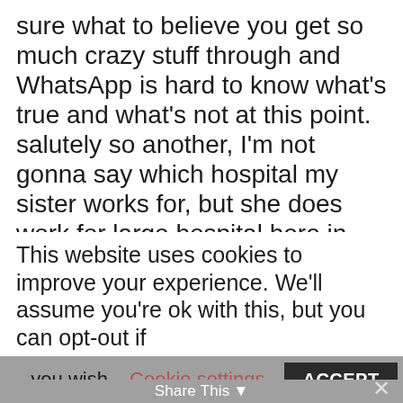sure what to believe you get so much crazy stuff through and WhatsApp is hard to know what's true and what's not at this point. salutely so another, I'm not gonna say which hospital my sister works for, but she does work for large hospital here in South Florida. And they have been, you know, she actually does MRI scanning. And basically they have told the MRI techs that they might have to go help their X ray departments. So basically, people that are in need of being diagnosed of cancer are kind of being pushed to the side as a lesser priority to
This website uses cookies to improve your experience. We'll assume you're ok with this, but you can opt-out if
you wish.    Cookie settings    ACCEPT
Share This ▾